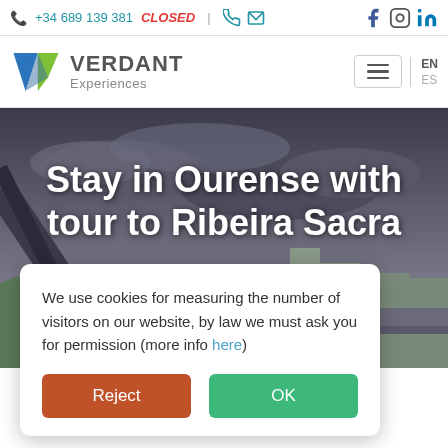+34 689 139 381 CLOSED
[Figure (logo): Verdant Experiences logo with stylized blue and green V shape]
Stay in Ourense with tour to Ribeira Sacra
We use cookies for measuring the number of visitors on our website, by law we must ask you for permission (more info here)
- Designed to maximize your